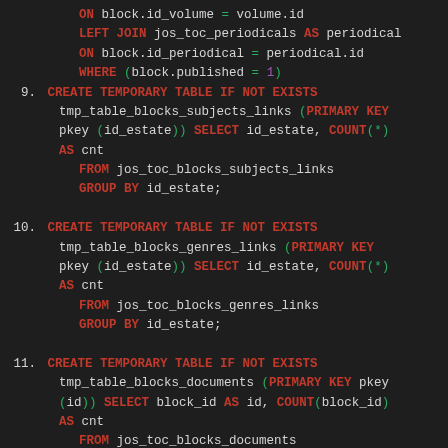SQL code listing items 9-11: CREATE TEMPORARY TABLE IF NOT EXISTS statements for tmp_table_blocks_subjects_links, tmp_table_blocks_genres_links, and tmp_table_blocks_documents, with continuation of a preceding ON/LEFT JOIN/WHERE clause.